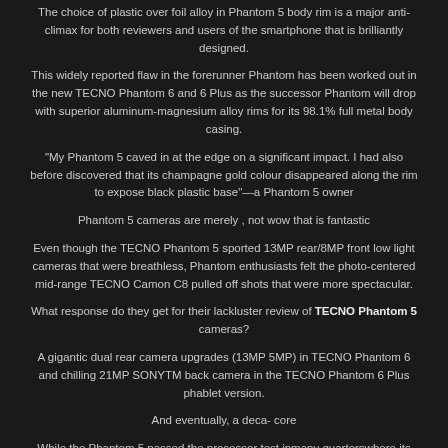The choice of plastic over foil alloy in Phantom 5 body rim is a major anti-climax for both reviewers and users of the smartphone that is brilliantly designed.
This widely reported flaw in the forerunner Phantom has been worked out in the new TECNO Phantom 6 and 6 Plus as the successor Phantom will drop with superior aluminum-magnesium alloy rims for its 98.1% full metal body casing.
“My Phantom 5 caved in at the edge on a significant impact. I had also before discovered that its champagne gold colour disappeared along the rim to expose black plastic base”—a Phantom 5 owner
Phantom 5 cameras are merely , not wow that is fantastic
Even though the TECNO Phantom 5 sported 13MP rear/8MP front low light cameras that were breathless, Phantom enthusiasts felt the photo-centered mid-range TECNO Camon C8 pulled off shots that were more spectacular.
What response do they get for their lackluster review of TECNO Phantom 5 cameras?
A gigantic dual rear camera upgrades (13MP 5MP) in TECNO Phantom 6 and chilling 21MP SONYTM back camera in the TECNO Phantom 6 Plus phablet version.
And eventually, a deca- core
While the Phantom 5 passed the processor test inmany quarterswhere its octa-core chip wasbrought under the heat, a sweet end:a done and dusted